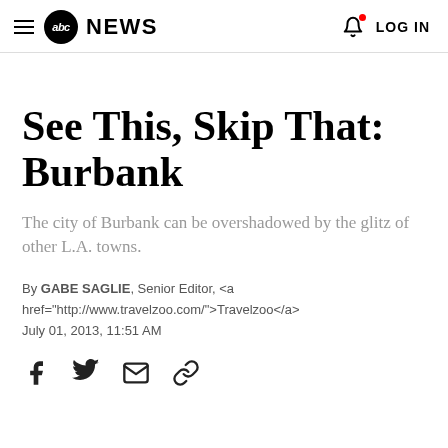abc NEWS  LOG IN
See This, Skip That: Burbank
The city of Burbank can be overshadowed by the glitz of other L.A. towns.
By GABE SAGLIE, Senior Editor, <a href="http://www.travelzoo.com/">Travelzoo</a> July 01, 2013, 11:51 AM
[Figure (infographic): Social sharing icons: Facebook, Twitter, Email, Link]